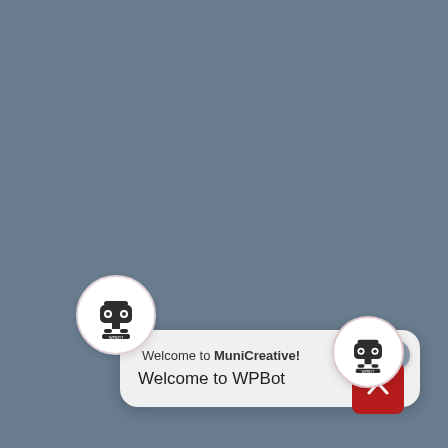[Figure (screenshot): A chatbot widget interface showing a WPBot welcome message on a grayish-blue background. There is a robot avatar (circular) on the top-left of the chat bubble, another smaller robot avatar on the bottom-right overlapping a red collapse button. The chat bubble reads 'Welcome to MuniCreative!' in the header row and 'Welcome to WPBot' as the main message. A close (X) button appears at the top-right of the chat bubble.]